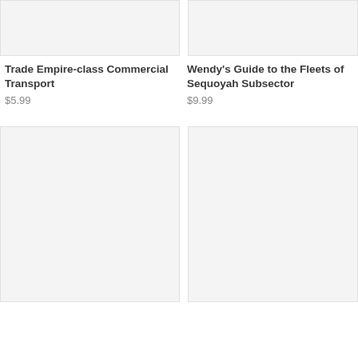[Figure (other): Product image placeholder for Trade Empire-class Commercial Transport (top-left, light gray rectangle)]
Trade Empire-class Commercial Transport
$5.99
[Figure (other): Product image placeholder for Wendy's Guide to the Fleets of Sequoyah Subsector (top-right, light gray rectangle)]
Wendy's Guide to the Fleets of Sequoyah Subsector
$9.99
[Figure (other): Product image placeholder (bottom-left, light gray rectangle)]
[Figure (other): Product image placeholder (bottom-right, light gray rectangle)]